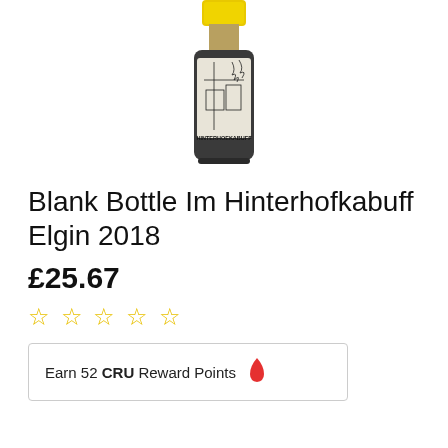[Figure (photo): A wine bottle with a yellow cap and a black-and-white illustrated label showing a building/greenhouse scene with text 'HINTERHOEKABUFF']
Blank Bottle Im Hinterhofkabuff Elgin 2018
£25.67
☆ ☆ ☆ ☆ ☆
Earn 52 CRU Reward Points